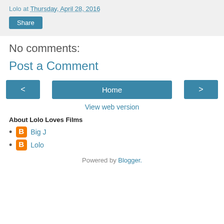Lolo at Thursday, April 28, 2016
Share
No comments:
Post a Comment
< Home >
View web version
About Lolo Loves Films
Big J
Lolo
Powered by Blogger.